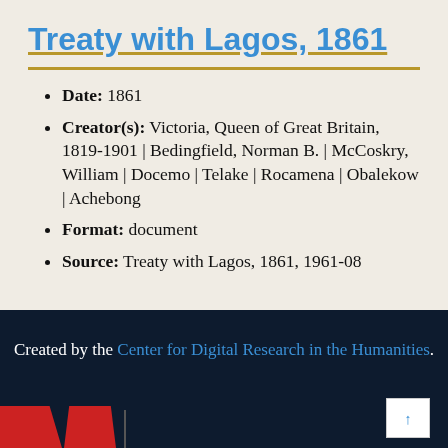Treaty with Lagos, 1861
Date: 1861
Creator(s): Victoria, Queen of Great Britain, 1819-1901 | Bedingfield, Norman B. | McCoskry, William | Docemo | Telake | Rocamena | Obalekow | Achebong
Format: document
Source: Treaty with Lagos, 1861, 1961-08
Created by the Center for Digital Research in the Humanities.